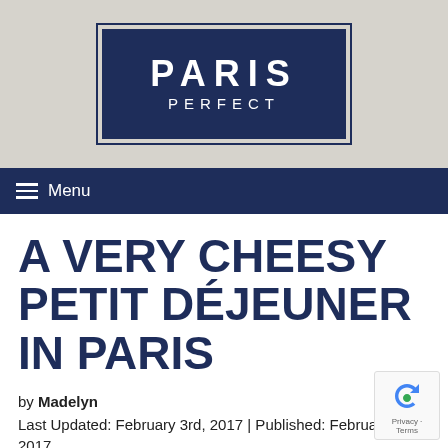[Figure (logo): Paris Perfect logo: dark navy blue rectangle with white text 'PARIS' in large bold letters and 'PERFECT' below in smaller spaced letters, surrounded by a thin navy border on a beige/tan background]
Menu
A VERY CHEESY PETIT DÉJEUNER IN PARIS
by Madelyn
Last Updated: February 3rd, 2017 | Published: February 1st, 2017